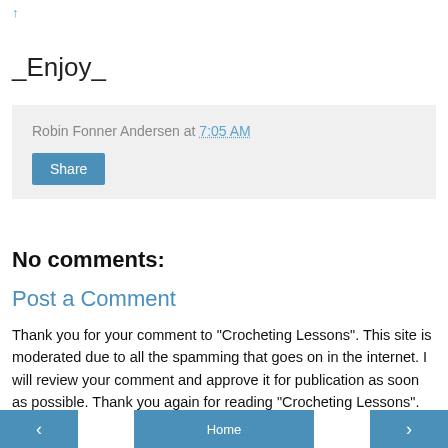↑
_Enjoy_
Robin Fonner Andersen at 7:05 AM
Share
No comments:
Post a Comment
Thank you for your comment to "Crocheting Lessons". This site is moderated due to all the spamming that goes on in the internet. I will review your comment and approve it for publication as soon as possible. Thank you again for reading "Crocheting Lessons".
‹  Home  ›